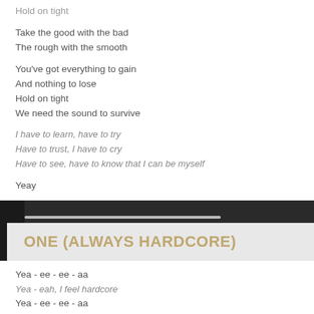Hold on tight
Take the good with the bad
The rough with the smooth
You've got everything to gain
And nothing to lose
Hold on tight
We need the sound to survive
I have to learn, have to try
Have to trust, I have to cry
Have to see, have to know that I can be myself
Yeay
ONE (ALWAYS HARDCORE)
Yea - ee - ee - aa
Yea - eah, I feel hardcore
Yea - ee - ee - aa
Yea - eah, always hardcore